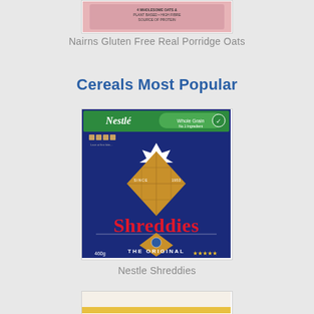[Figure (photo): Partial view of Nairns Gluten Free Real Porridge Oats product packaging - pink/salmon colored box, top portion visible]
Nairns Gluten Free Real Porridge Oats
Cereals Most Popular
[Figure (photo): Nestle Shreddies cereal box - dark navy blue box with Nestle and Whole Grain logos at top, large diamond-shaped shredded wheat piece in center, 'Shreddies' in large red text, 'THE ORIGINAL' at bottom, 460g, five star rating]
Nestle Shreddies
[Figure (photo): Partial view of another cereal product - bottom portion cut off, yellow/gold color visible at bottom edge]